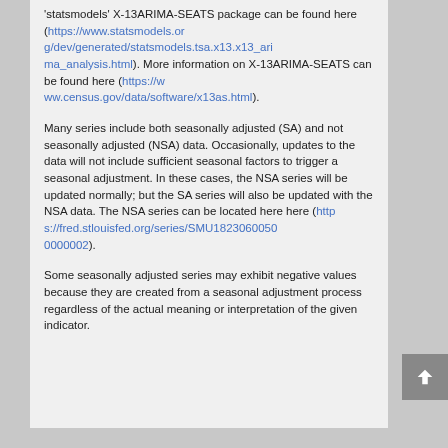'statsmodels' X-13ARIMA-SEATS package can be found here (https://www.statsmodels.org/dev/generated/statsmodels.tsa.x13.x13_arima_analysis.html). More information on X-13ARIMA-SEATS can be found here (https://www.census.gov/data/software/x13as.html).
Many series include both seasonally adjusted (SA) and not seasonally adjusted (NSA) data. Occasionally, updates to the data will not include sufficient seasonal factors to trigger a seasonal adjustment. In these cases, the NSA series will be updated normally; but the SA series will also be updated with the NSA data. The NSA series can be located here here (https://fred.stlouisfed.org/series/SMU18230600500000002).
Some seasonally adjusted series may exhibit negative values because they are created from a seasonal adjustment process regardless of the actual meaning or interpretation of the given indicator.